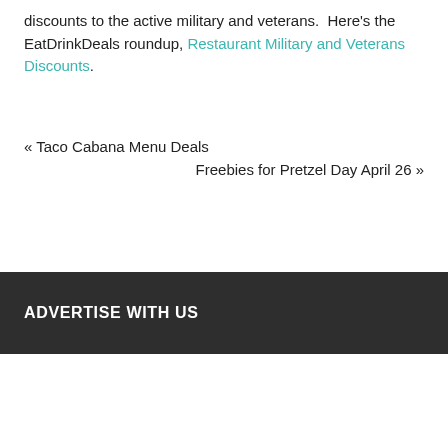discounts to the active military and veterans.  Here's the EatDrinkDeals roundup, Restaurant Military and Veterans Discounts.
« Taco Cabana Menu Deals
Freebies for Pretzel Day April 26 »
ADVERTISE WITH US